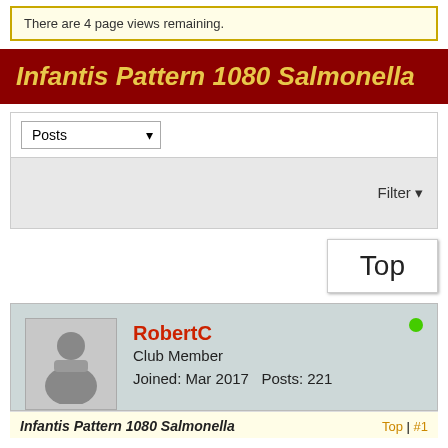There are 4 page views remaining.
Infantis Pattern 1080 Salmonella
[Figure (screenshot): Posts dropdown selector with chevron]
Filter ▼
Top
RobertC
Club Member
Joined: Mar 2017   Posts: 221
Infantis Pattern 1080 Salmonella   Top | #1